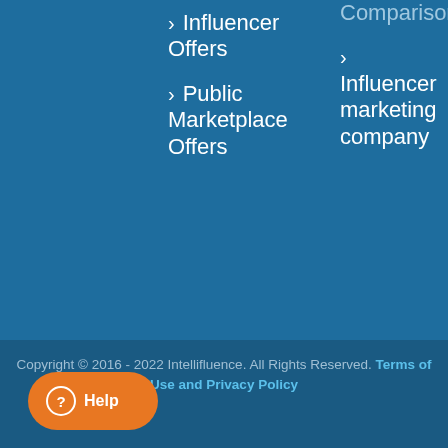> Influencer Offers
> Public Marketplace Offers
Comparison (partial, top cut off)
> Influencer marketing company
Copyright © 2016 - 2022 Intellifluence. All Rights Reserved. Terms of Use and Privacy Policy